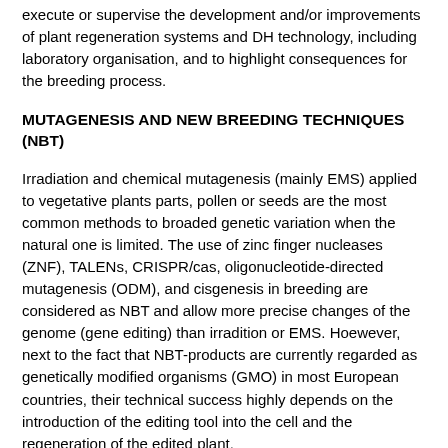execute or supervise the development and/or improvements of plant regeneration systems and DH technology, including laboratory organisation, and to highlight consequences for the breeding process.
MUTAGENESIS AND NEW BREEDING TECHNIQUES (NBT)
Irradiation and chemical mutagenesis (mainly EMS) applied to vegetative plants parts, pollen or seeds are the most common methods to broaded genetic variation when the natural one is limited. The use of zinc finger nucleases (ZNF), TALENs, CRISPR/cas, oligonucleotide-directed mutagenesis (ODM), and cisgenesis in breeding are considered as NBT and allow more precise changes of the genome (gene editing) than irradition or EMS. Hoewever, next to the fact that NBT-products are currently regarded as genetically modified organisms (GMO) in most European countries, their technical success highly depends on the introduction of the editing tool into the cell and the regeneration of the edited plant.
Through the advanced sequencing techniques and bioinformatic tools it is nowadays relatively easy and quick to obtain sequence data from any species. Developing a